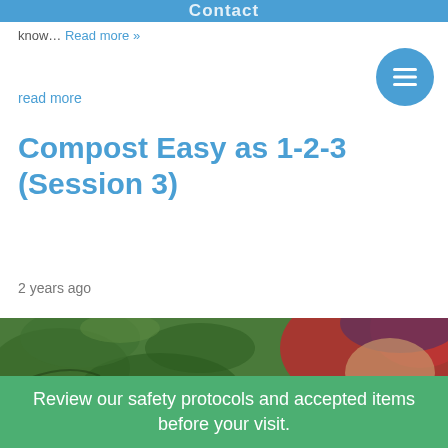Contact
know… Read more »
read more
Compost Easy as 1-2-3 (Session 3)
2 years ago
[Figure (photo): Blurred photo of a person in a red jacket with green foliage background]
Review our safety protocols and accepted items before your visit.